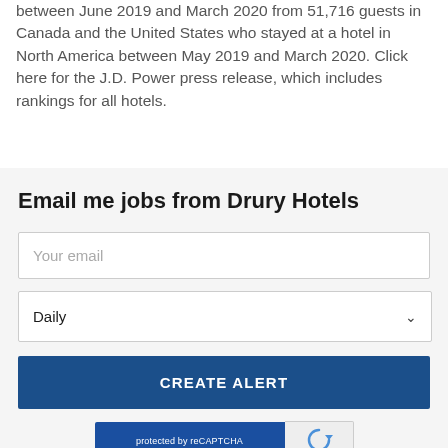between June 2019 and March 2020 from 51,716 guests in Canada and the United States who stayed at a hotel in North America between May 2019 and March 2020. Click here for the J.D. Power press release, which includes rankings for all hotels.
Email me jobs from Drury Hotels
Your email
Daily
CREATE ALERT